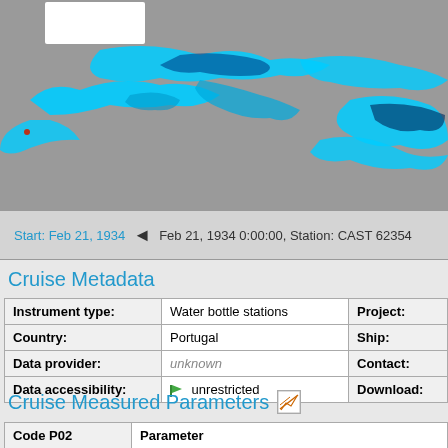[Figure (map): Satellite or oceanographic map showing cyan/blue ocean data overlay on grey background, depicting what appears to be a water parameter measurement (e.g., chlorophyll or temperature) with irregular cyan-colored plume patterns on grey land/sea background.]
Start: Feb 21, 1934   ◄   Feb 21, 1934 0:00:00, Station: CAST 62354
Cruise Metadata
| Instrument type: | Water bottle stations | Project: |
| Country: | Portugal | Ship: |
| Data provider: | unknown | Contact: |
| Data accessibility: | unrestricted | Download: |
Cruise Measured Parameters
| Code P02 | Parameter |
| --- | --- |
| ALCT | Vertical spatial coordinates |